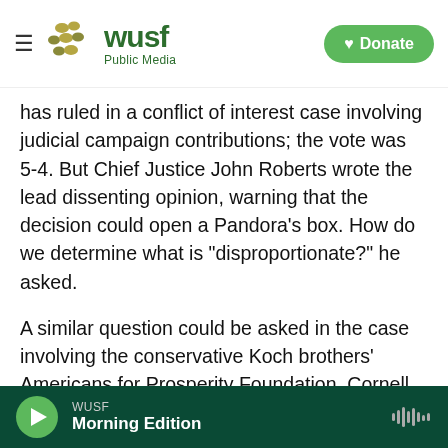[Figure (logo): WUSF Public Media logo with hamburger menu icon and Donate button]
has ruled in a conflict of interest case involving judicial campaign contributions; the vote was 5-4. But Chief Justice John Roberts wrote the lead dissenting opinion, warning that the decision could open a Pandora's box. How do we determine what is "disproportionate?" he asked.
A similar question could be asked in the case involving the conservative Koch brothers' Americans for Prosperity Foundation, Cornell Law School professor W. Bradley Wendel observes. But he acknowledges that the large AFP push to win Barrett's confirmation presents at minimum a
WUSF  Morning Edition